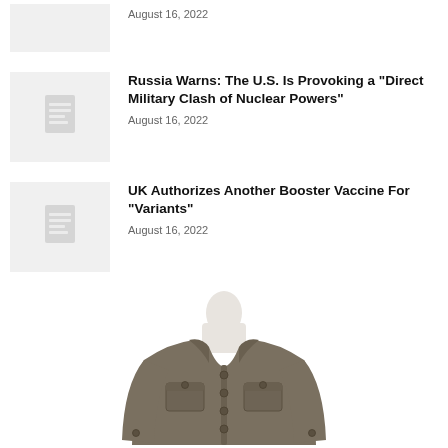[Figure (other): Thumbnail image placeholder for a news article, partially cropped at top]
August 16, 2022
[Figure (other): Document icon placeholder thumbnail for news article]
Russia Warns: The U.S. Is Provoking a “Direct Military Clash of Nuclear Powers”
August 16, 2022
[Figure (other): Document icon placeholder thumbnail for news article]
UK Authorizes Another Booster Vaccine For “Variants”
August 16, 2022
[Figure (photo): Photo of a dark olive/khaki button-up jacket on a mannequin, no head visible, white background]